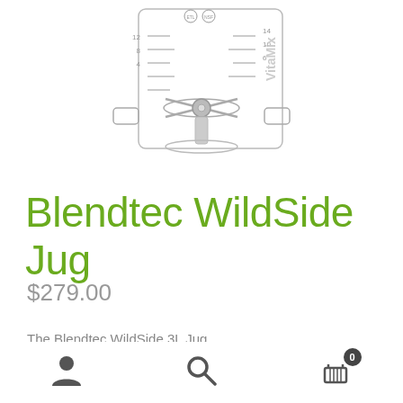[Figure (photo): Blendtec WildSide Jug blender container with measurement markings and blade assembly, photographed from above against white background]
Blendtec WildSide Jug
$279.00
The Blendtec WildSide 3L Jug